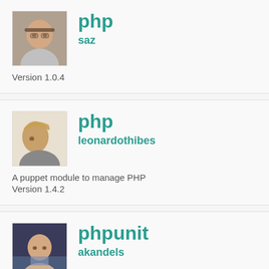[Figure (photo): Avatar photo of user saz, a person with glasses]
php
saz
Version 1.0.4
[Figure (photo): Avatar photo of user leonardothibes, a person facing sideways]
php
leonardothibes
A puppet module to manage PHP
Version 1.4.2
[Figure (photo): Avatar photo of user akandels, a man in a shirt]
phpunit
akandels